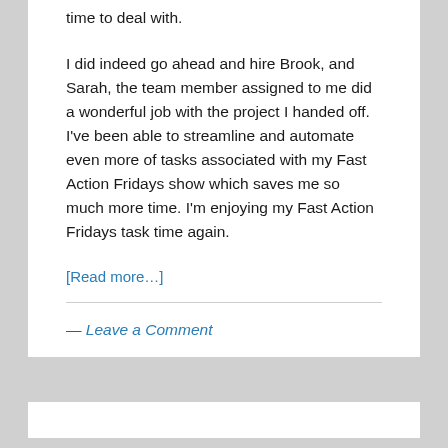time to deal with.
I did indeed go ahead and hire Brook, and Sarah, the team member assigned to me did a wonderful job with the project I handed off. I've been able to streamline and automate even more of tasks associated with my Fast Action Fridays show which saves me so much more time. I'm enjoying my Fast Action Fridays task time again.
[Read more...]
— Leave a Comment